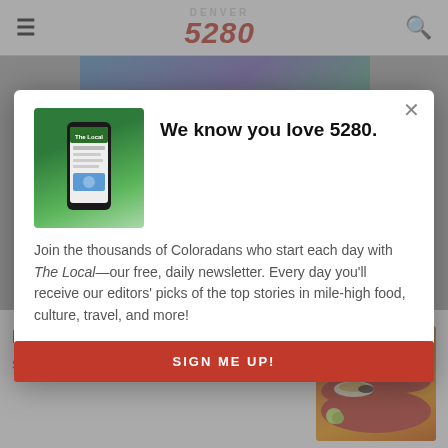Denver 5280
[Figure (screenshot): Modal popup overlay on Denver 5280 magazine website. Shows newsletter signup prompt with phone image, headline 'We know you love 5280.', body text about The Local newsletter, and a red SIGN ME UP! button. Behind the modal is the dimmed website with navigation bar and article content.]
We know you love 5280.
Join the thousands of Coloradans who start each day with The Local—our free, daily newsletter. Every day you'll receive our editors' picks of the top stories in mile-high food, culture, travel, and more!
SIGN ME UP!
Denver's Best Mexican Food
Staff